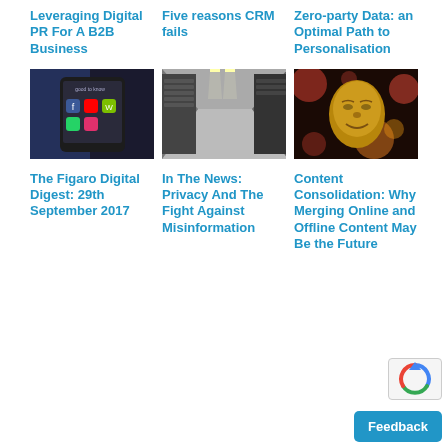Leveraging Digital PR For A B2B Business
Five reasons CRM fails
Zero-party Data: an Optimal Path to Personalisation
[Figure (photo): Close-up of a smartphone screen showing social media app icons including Facebook, YouTube, and WhatsApp]
[Figure (photo): Interior view of a dark server room corridor with bright overhead lights]
[Figure (photo): Golden Buddha statue face with bokeh orange and red lights in background]
The Figaro Digital Digest: 29th September 2017
In The News: Privacy And The Fight Against Misinformation
Content Consolidation: Why Merging Online and Offline Content May Be the Future